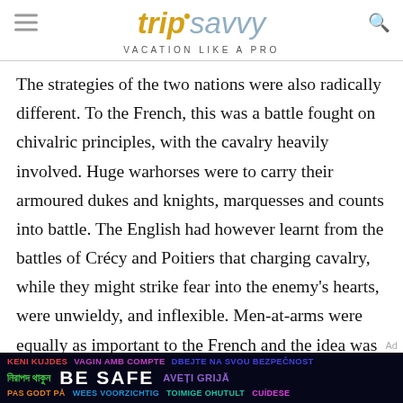trip savvy — VACATION LIKE A PRO
The strategies of the two nations were also radically different. To the French, this was a battle fought on chivalric principles, with the cavalry heavily involved. Huge warhorses were to carry their armoured dukes and knights, marquesses and counts into battle. The English had however learnt from the battles of Crécy and Poitiers that charging cavalry, while they might strike fear into the enemy's hearts, were unwieldy, and inflexible. Men-at-arms were equally as important to the French and the idea was to fight a set-piece battle.
[Figure (infographic): Be Safe multilingual public safety advertisement banner with dark background and colorful text in multiple languages including English, Bengali, Catalan, Czech, Romanian, Norwegian, Dutch, and Finnish.]